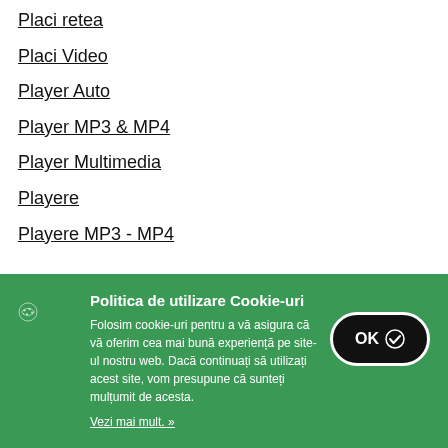Placi retea
Placi Video
Player Auto
Player MP3 & MP4
Player Multimedia
Playere
Playere MP3 - MP4
Politica de utilizare Cookie-uri
Folosim cookie-uri pentru a vă asigura că vă oferim cea mai bună experiență pe site-ul nostru web. Dacă continuați să utilizați acest site, vom presupune că sunteți mulțumit de acesta.
Vezi mai mult. »